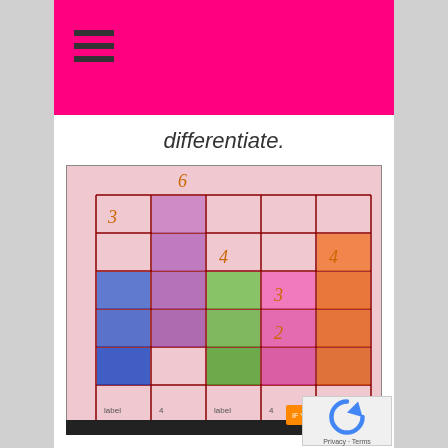≡ (hamburger menu)
differentiate.
[Figure (photo): A hand-drawn grid on pink paper with colored crayon markings in different cells. Numbers visible include 6 at top, 3, 4, 3, 4, 2 within grid cells. Colors include blue, purple, green, hot pink, and orange crayon shading in various cells. The grid appears to be an educational activity chart.]